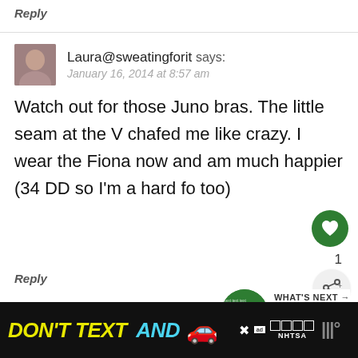Reply
Laura@sweatingforit says:
January 16, 2014 at 8:57 am
Watch out for those Juno bras. The little seam at the V chafed me like crazy. I wear the Fiona now and am much happier (34 DD so I'm a hard fo too)
Reply
WHAT'S NEXT → At-Home Chipper
[Figure (screenshot): Ad banner at the bottom: black background with yellow 'DON'T TEXT AND' text, a red car emoji, 'ad' label, NHTSA logo with star boxes]
DON'T TEXT AND